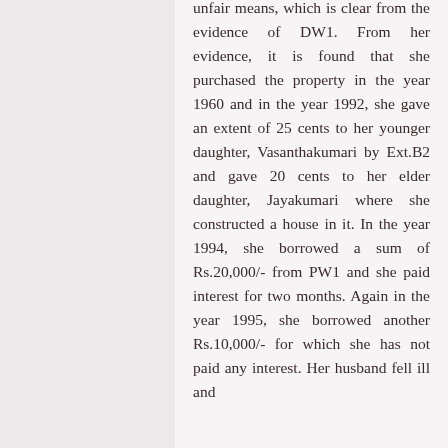unfair means, which is clear from the evidence of DW1. From her evidence, it is found that she purchased the property in the year 1960 and in the year 1992, she gave an extent of 25 cents to her younger daughter, Vasanthakumari by Ext.B2 and gave 20 cents to her elder daughter, Jayakumari where she constructed a house in it. In the year 1994, she borrowed a sum of Rs.20,000/- from PW1 and she paid interest for two months. Again in the year 1995, she borrowed another Rs.10,000/- for which she has not paid any interest. Her husband fell ill and